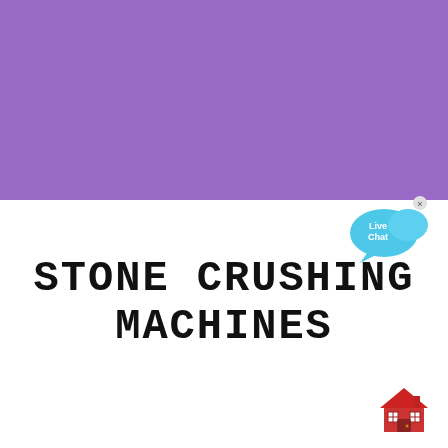[Figure (illustration): Purple/violet banner filling the top half of the page]
[Figure (illustration): Live Chat speech bubble icon in cyan/blue with 'Live Chat' text and an X close button, positioned top-right]
STONE CRUSHING MACHINES
[Figure (illustration): Small red house/building icon in the bottom-right corner]